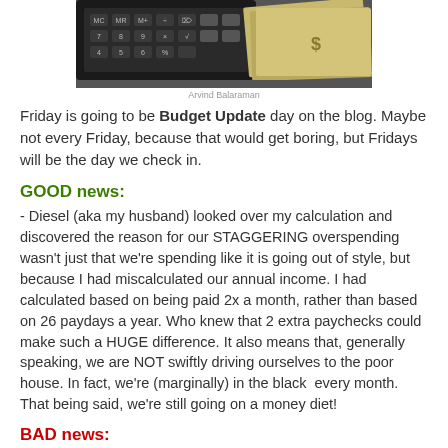[Figure (photo): Photo of a calculator with money/dollar bills in the background]
Arvind Balaraman
Friday is going to be Budget Update day on the blog. Maybe not every Friday, because that would get boring, but Fridays will be the day we check in.
GOOD news:
- Diesel (aka my husband) looked over my calculation and discovered the reason for our STAGGERING overspending wasn't just that we're spending like it is going out of style, but because I had miscalculated our annual income. I had calculated based on being paid 2x a month, rather than based on 26 paydays a year. Who knew that 2 extra paychecks could make such a HUGE difference. It also means that, generally speaking, we are NOT swiftly driving ourselves to the poor house. In fact, we're (marginally) in the black  every month. That being said, we're still going on a money diet!
BAD news: